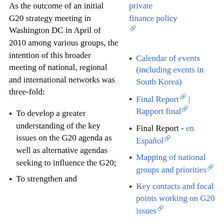As the outcome of an initial G20 strategy meeting in Washington DC in April of 2010 among various groups, the intention of this broader meeting of national, regional and international networks was three-fold:
private finance policy [external link]
Calendar of events (including events in South Korea)
Final Report [external link] | Rapport final [external link]
Final Report - en Español [external link]
Mapping of national groups and priorities [external link]
Key contacts and focal points working on G20 issues [external link]
To develop a greater understanding of the key issues on the G20 agenda as well as alternative agendas seeking to influence the G20;
To strengthen and